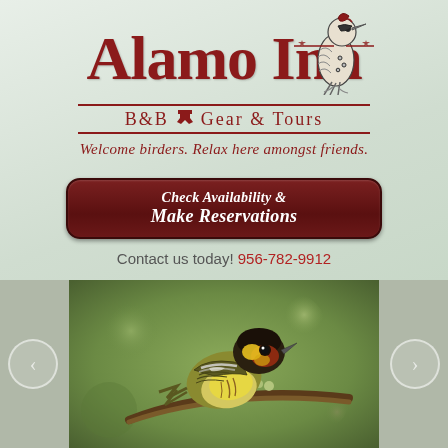[Figure (logo): Alamo Inn B&B Gear & Tours logo with red script lettering and woodpecker bird illustration]
Welcome birders. Relax here amongst friends.
Check Availability & Make Reservations
Contact us today! 956-782-9912
[Figure (photo): Close-up photo of a yellow and brown warbler bird (Cape May Warbler) perched on a branch with green background. Navigation arrows on left and right sides.]